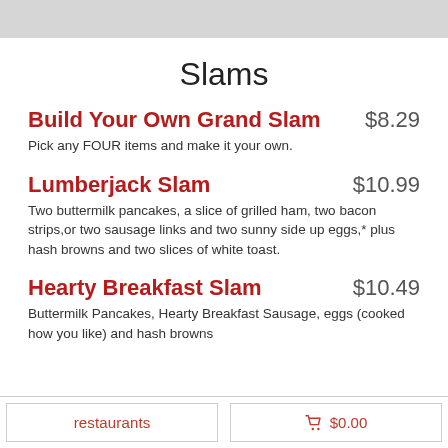Slams
Build Your Own Grand Slam
$8.29
Pick any FOUR items and make it your own.
Lumberjack Slam
$10.99
Two buttermilk pancakes, a slice of grilled ham, two bacon strips,or two sausage links and two sunny side up eggs,* plus hash browns and two slices of white toast.
Hearty Breakfast Slam
$10.49
Buttermilk Pancakes, Hearty Breakfast Sausage, eggs (cooked how you like) and hash browns
restaurants   🛒 $0.00